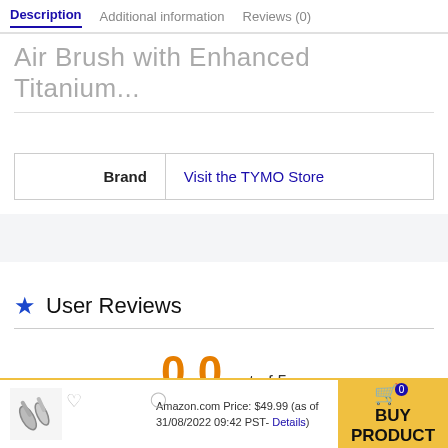Description | Additional information | Reviews (0)
Air Brush with Enhanced Titanium...
| Brand |  |
| --- | --- |
| Brand | Visit the TYMO Store |
User Reviews
0.0 out of 5
★★★★★  0
Amazon.com Price: $49.99 (as of 31/08/2022 09:42 PST- Details)  BUY PRODUCT